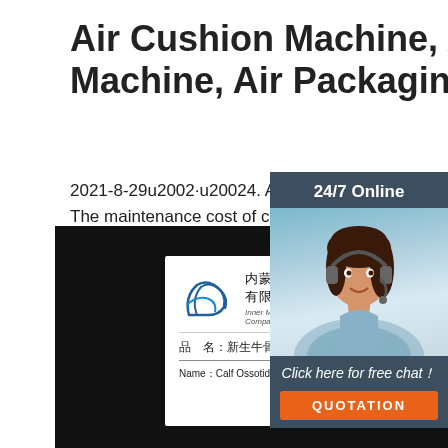Air Cushion Machine, Air Pillow Machine, Air Packaging ...
2021-8-29u2002·u20024. After-sales service of the inflatable air packaging system. 5. The maintenance cost of cushion machine. We know air cushion machine (wrap machine price) is a very import factor to de not, so we always provide cost-effective and com cushion machines to you. Welcome inquiry now!
[Figure (other): Green 'Get Price' button]
[Figure (other): Chat widget overlay with 24/7 Online label, photo of woman with headset, 'Click here for free chat!' text, and orange QUOTATION button]
[Figure (photo): Black background image showing a white document/certificate from Inner Mongolia XinHong Biotech Company Limited (内蒙古新宏生物科技有限公司) with product name 新生牛骨肽干粉 (Calf Ossotide drier powder), and an orange TOP badge in the bottom-right corner]